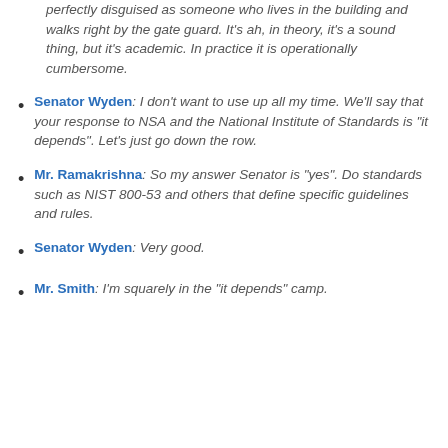perfectly disguised as someone who lives in the building and walks right by the gate guard. It’s ah, in theory, it’s a sound thing, but it’s academic. In practice it is operationally cumbersome.
Senator Wyden: I don’t want to use up all my time. We’ll say that your response to NSA and the National Institute of Standards is “it depends”. Let’s just go down the row.
Mr. Ramakrishna: So my answer Senator is “yes”. Do standards such as NIST 800-53 and others that define specific guidelines and rules.
Senator Wyden: Very good.
Mr. Smith: I’m squarely in the “it depends” camp.